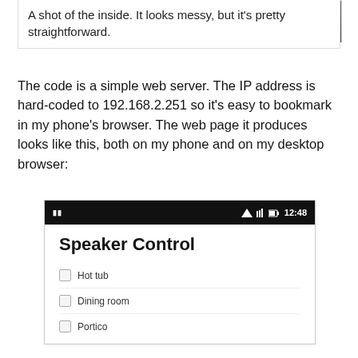[Figure (photo): Partial view of the inside of an electronics enclosure showing circuit board components on a wooden surface.]
A shot of the inside. It looks messy, but it's pretty straightforward.
The code is a simple web server. The IP address is hard-coded to 192.168.2.251 so it's easy to bookmark in my phone's browser. The web page it produces looks like this, both on my phone and on my desktop browser:
[Figure (screenshot): Screenshot of a mobile web page titled 'Speaker Control' showing a list of speaker zones: Hot tub, Dining room, Portico, each with a checkbox.]